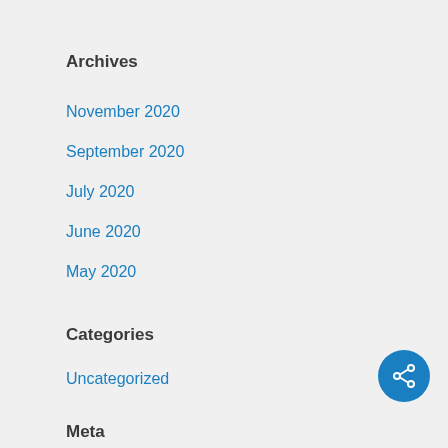Archives
November 2020
September 2020
July 2020
June 2020
May 2020
Categories
Uncategorized
Meta